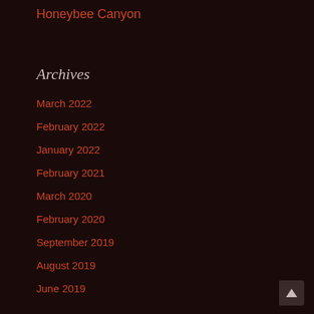Honeybee Canyon
Archives
March 2022
February 2022
January 2022
February 2021
March 2020
February 2020
September 2019
August 2019
June 2019
May 2019
March 2019